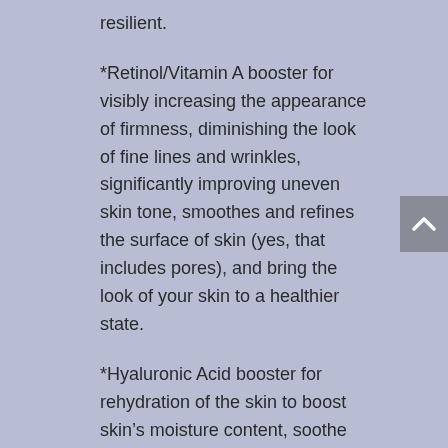resilient.
*Retinol/Vitamin A booster for visibly increasing the appearance of firmness, diminishing the look of fine lines and wrinkles, significantly improving uneven skin tone, smoothes and refines the surface of skin (yes, that includes pores), and bring the look of your skin to a healthier state.
*Hyaluronic Acid booster for rehydration of the skin to boost skin’s moisture content, soothe skin, and defend against moisture loss. It is capable of holding up to 1,000 times its own weight in water, making it an optimal hydrator for all skin types. It’s also a skin-calming antioxidant! Not recommended for sensitive skin.